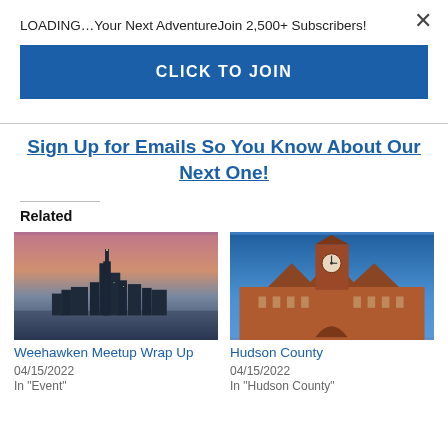LOADING…Your Next AdventureJoin 2,500+ Subscribers!
CLICK TO JOIN
Sign Up for Emails So You Know About Our Next One!
Related
[Figure (photo): NYC skyline at sunset/dusk with pink and purple sky]
Weehawken Meetup Wrap Up
04/15/2022
In "Event"
[Figure (photo): Historic brick building with clock tower against blue sky, Hudson County]
Hudson County
04/15/2022
In "Hudson County"